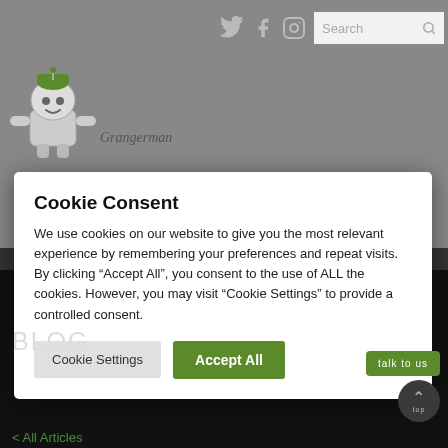Search [social icons: Twitter, Facebook, Instagram]
[Figure (illustration): Green robot/character logo for a website, with a round green-hatted head and simple face]
Cookie Consent
We use cookies on our website to give you the most relevant experience by remembering your preferences and repeat visits. By clicking “Accept All”, you consent to the use of ALL the cookies. However, you may visit “Cookie Settings” to provide a controlled consent.
Cookie Settings | Accept All
BLOG
talk to us
top
< All Articles